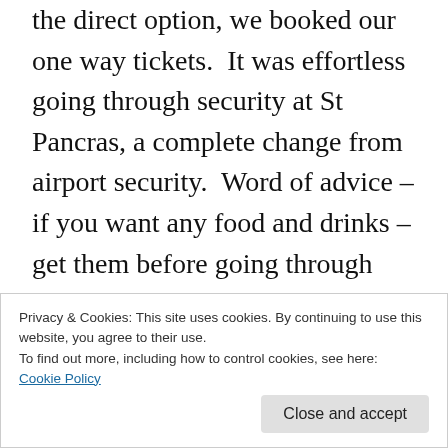the direct option, we booked our one way tickets.  It was effortless going through security at St Pancras, a complete change from airport security.  Word of advice – if you want any food and drinks – get them before going through security as the options once you're inside are quite limited.  There was a lounge though – Eurostar's own lounge.  My American Express credit card gave me free access – but a catch – it has to be an AMEX from Europe only, there were some Americans before me who got
Privacy & Cookies: This site uses cookies. By continuing to use this website, you agree to their use.
To find out more, including how to control cookies, see here:
Cookie Policy